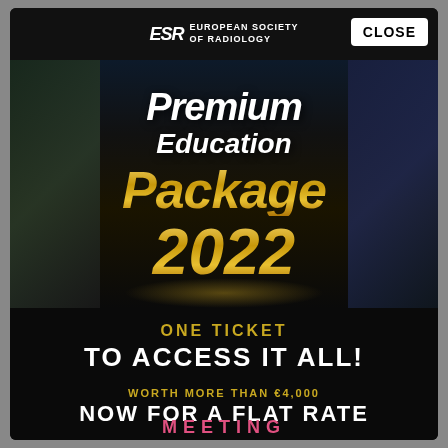[Figure (illustration): ESR European Society of Radiology Premium Education Package 2022 promotional modal overlay with gold 3D text and medical imaging backgrounds]
Premium Education Package 2022
ONE TICKET TO ACCESS IT ALL!
WORTH MORE THAN €4,000 NOW FOR A FLAT RATE
MEETING
CLOSE